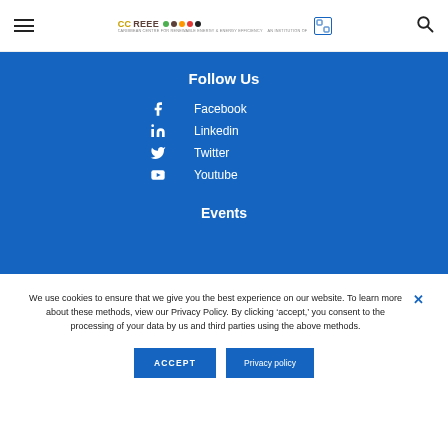[Figure (logo): CCREEE logo with colored dots and tagline, plus CARICOM institution icon and hamburger menu and search icon in header navigation bar]
Follow Us
Facebook
Linkedin
Twitter
Youtube
Events
We use cookies to ensure that we give you the best experience on our website. To learn more about these methods, view our Privacy Policy. By clicking ‘accept,’ you consent to the processing of your data by us and third parties using the above methods.
ACCEPT
Privacy policy